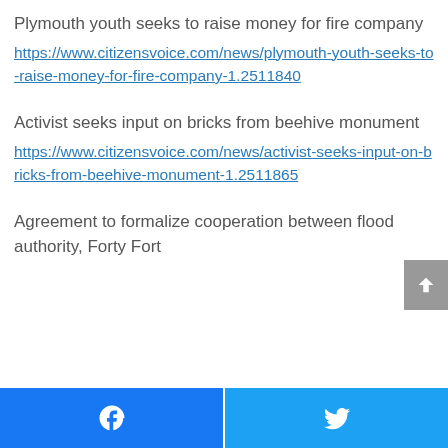Plymouth youth seeks to raise money for fire company
https://www.citizensvoice.com/news/plymouth-youth-seeks-to-raise-money-for-fire-company-1.2511840
Activist seeks input on bricks from beehive monument
https://www.citizensvoice.com/news/activist-seeks-input-on-bricks-from-beehive-monument-1.2511865
Agreement to formalize cooperation between flood authority, Forty Fort